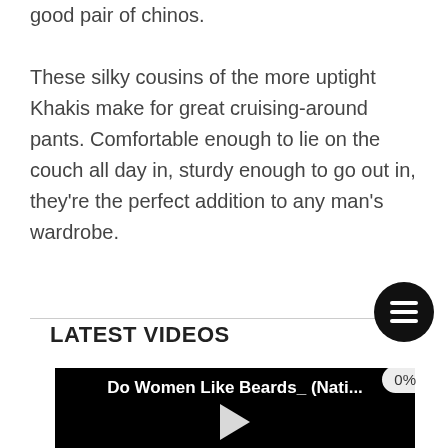good pair of chinos.
These silky cousins of the more uptight Khakis make for great cruising-around pants. Comfortable enough to lie on the couch all day in, sturdy enough to go out in, they’re the perfect addition to any man’s wardrobe.
LATEST VIDEOS
[Figure (screenshot): Video thumbnail showing title 'Do Women Like Beards_ (Nati...' with a play button on a black background and a 0% badge overlay]